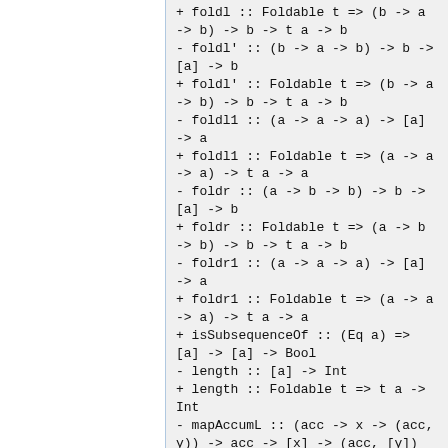+ foldl :: Foldable t => (b -> a -> b) -> b -> t a -> b
- foldl' :: (b -> a -> b) -> b -> [a] -> b
+ foldl' :: Foldable t => (b -> a -> b) -> b -> t a -> b
- foldl1 :: (a -> a -> a) -> [a] -> a
+ foldl1 :: Foldable t => (a -> a -> a) -> t a -> a
- foldr :: (a -> b -> b) -> b -> [a] -> b
+ foldr :: Foldable t => (a -> b -> b) -> b -> t a -> b
- foldr1 :: (a -> a -> a) -> [a] -> a
+ foldr1 :: Foldable t => (a -> a -> a) -> t a -> a
+ isSubsequenceOf :: (Eq a) => [a] -> [a] -> Bool
- length :: [a] -> Int
+ length :: Foldable t => t a -> Int
- mapAccumL :: (acc -> x -> (acc, y)) -> acc -> [x] -> (acc, [y])
+ mapAccumL :: Traversable t => (a -> b -> (a, c)) -> a -> t b -> (a, t c)
- mapAccumR :: (acc -> x -> (acc, y)) -> acc -> [x] -> (acc, [y])
+ mapAccumR :: Traversable t => (a